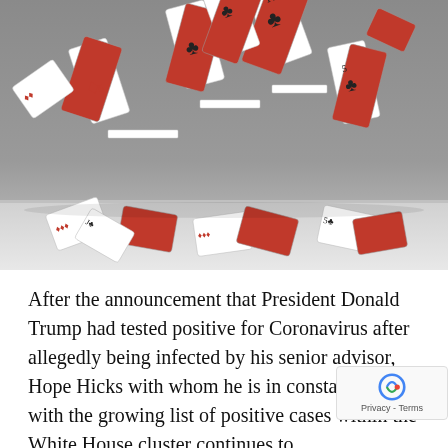[Figure (photo): A house of playing cards collapsing, with cards scattered on a white surface against a gray background. Playing cards visible include clubs, diamonds, and red-backed cards.]
After the announcement that President Donald Trump had tested positive for Coronavirus after allegedly being infected by his senior advisor, Hope Hicks with whom he is in constant contact with the growing list of positive cases within the White House cluster continues to increase.Trump's Press Secretary Kayleigh McEnany is the latest White House Staff who confirmed on Monday that she returned a